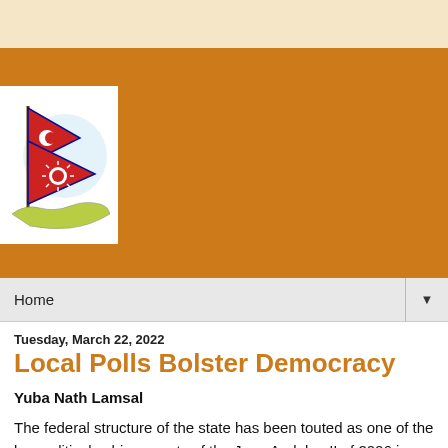[Figure (illustration): Nepal flag illustration with map of Nepal in green/yellow below the flag on white background]
Home ▼
Tuesday, March 22, 2022
Local Polls Bolster Democracy
Yuba Nath Lamsal
The federal structure of the state has been touted as one of the key political achievements of the Jana Andolan II of 2006 in Nepal, which was formally codified in the constitution in 2015. Under this system, there are three tiers of